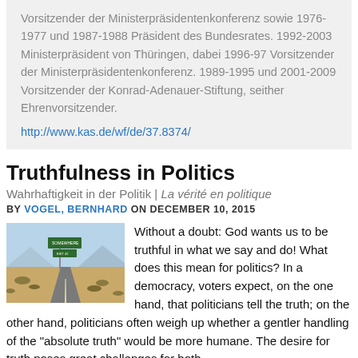Vorsitzender der Ministerpräsidentenkonferenz sowie 1976-1977 und 1987-1988 Präsident des Bundesrates. 1992-2003 Ministerpräsident von Thüringen, dabei 1996-97 Vorsitzender der Ministerpräsidentenkonferenz. 1989-1995 und 2001-2009 Vorsitzender der Konrad-Adenauer-Stiftung, seither Ehrenvorsitzender.
http://www.kas.de/wf/de/37.8374/
Truthfulness in Politics
Wahrhaftigkeit in der Politik | La vérité en politique
BY VOGEL, BERNHARD ON DECEMBER 10, 2015
[Figure (photo): A road with a green highway sign in a desert landscape]
Without a doubt: God wants us to be truthful in what we say and do! What does this mean for politics? In a democracy, voters expect, on the one hand, that politicians tell the truth; on the other hand, politicians often weigh up whether a gentler handling of the "absolute truth" would be more humane. The desire for truth poses great challenges for both...